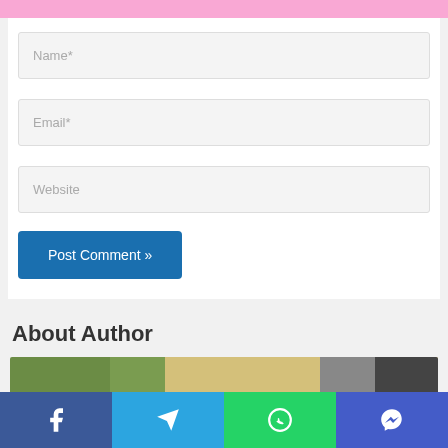[Figure (screenshot): Pink header bar at the top of a webpage comment/contact form]
Name*
Email*
Website
Post Comment »
About Author
[Figure (photo): Author photo showing a person with blonde hair, partial view]
[Figure (infographic): Social sharing bar with Facebook, Telegram, WhatsApp, and Messenger buttons]